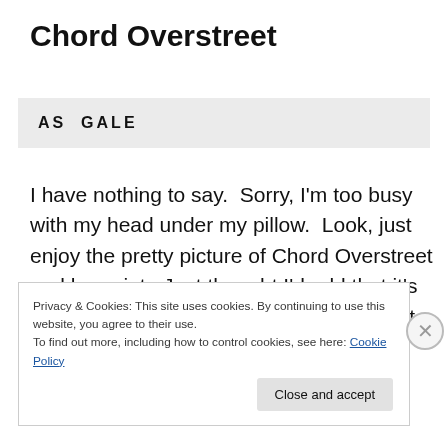Chord Overstreet
AS  GALE
I have nothing to say.  Sorry, I'm too busy with my head under my pillow.  Look, just enjoy the pretty picture of Chord Overstreet and be quiet.  Just thought I'd add that it's almost a mystic, voodoo kind of thing that my final (and most important, to me anyhow) casting pick is also a
Privacy & Cookies: This site uses cookies. By continuing to use this website, you agree to their use.
To find out more, including how to control cookies, see here: Cookie Policy
Close and accept